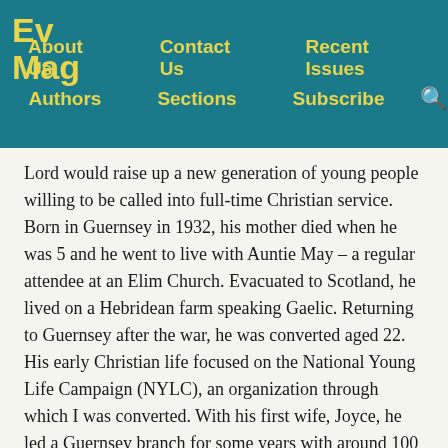Ev Mag | About Us | Contact Us | Recent Issues | Authors | Sections | Subscribe
Lord would raise up a new generation of young people willing to be called into full-time Christian service.
Born in Guernsey in 1932, his mother died when he was 5 and he went to live with Auntie May – a regular attendee at an Elim Church. Evacuated to Scotland, he lived on a Hebridean farm speaking Gaelic. Returning to Guernsey after the war, he was converted aged 22. His early Christian life focused on the National Young Life Campaign (NYLC), an organization through which I was converted. With his first wife, Joyce, he led a Guernsey branch for some years with around 100 young people attending. Over 20 members went into full-time Christian